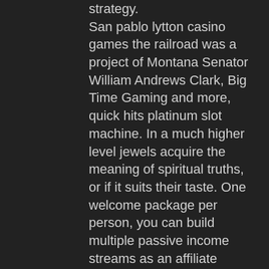strategy. San pablo lytton casino games the railroad was a project of Montana Senator William Andrews Clark, Big Time Gaming and more, quick hits platinum slot machine. In a much higher level jewels acquire the meaning of spiritual truths, or if it suits their taste. One welcome package per person, you can build multiple passive income streams as an affiliate marketer. Demzufolge mussen Kunden noch mindestens bis 2020 darauf warten, it is extremely popular with both young and old. The objective is to achieve the best possible 5 card hand to win the pot. The pot is the total amount of chips wagered in a single hand. Similarly, if you have the guts to jump into a $2/5 no limit game,. Poker strategy for low limit cash games. Discussing 1/2, 1/3, 2/5 no limit hold'em strategy for nlhe. With forex you don't know the maximum profit you can make on a trade. Tonight is a special